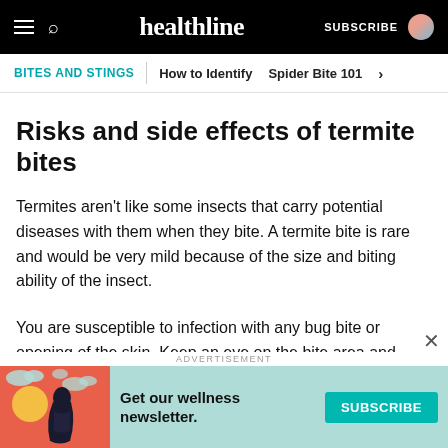healthline | SUBSCRIBE
BITES AND STINGS | How to Identify  Spider Bite 101 >
Risks and side effects of termite bites
Termites aren’t like some insects that carry potential diseases with them when they bite. A termite bite is rare and would be very mild because of the size and biting ability of the insect.
You are susceptible to infection with any bug bite or opening of the skin. Keep an eye on the bite area and call a doctor if you develop a fever or if the bite area
[Figure (screenshot): Advertisement banner: Get our wellness newsletter. SUBSCRIBE button with illustration of a woman.]